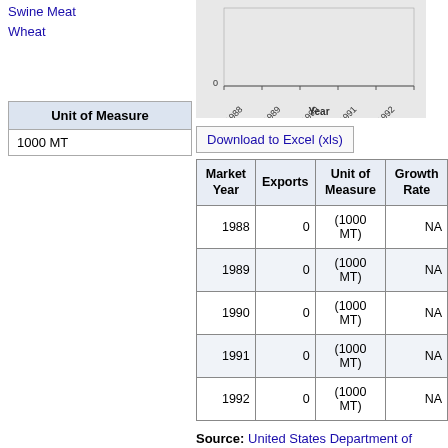Swine Meat
Wheat
[Figure (bar-chart): Wheat Exports]
| Unit of Measure |
| --- |
| 1000 MT |
Download to Excel (xls)
| Market Year | Exports | Unit of Measure | Growth Rate |
| --- | --- | --- | --- |
| 1988 | 0 | (1000 MT) | NA |
| 1989 | 0 | (1000 MT) | NA |
| 1990 | 0 | (1000 MT) | NA |
| 1991 | 0 | (1000 MT) | NA |
| 1992 | 0 | (1000 MT) | NA |
Source: United States Department of Agriculture
See also: Commodity prices
See also: Agricultural prices